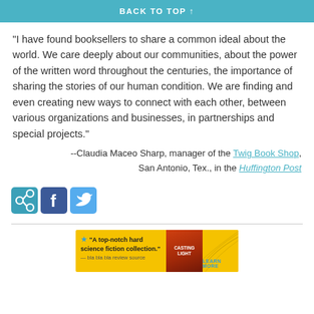BACK TO TOP ↑
"I have found booksellers to share a common ideal about the world. We care deeply about our communities, about the power of the written word throughout the centuries, the importance of sharing the stories of our human condition. We are finding and even creating new ways to connect with each other, between various organizations and businesses, in partnerships and special projects."
--Claudia Maceo Sharp, manager of the Twig Book Shop, San Antonio, Tex., in the Huffington Post
[Figure (other): Three social media sharing icons: a teal share/bookmark icon, a blue Facebook icon, and a light blue Twitter bird icon]
[Figure (other): Advertisement banner with yellow background showing a book promotion. Text reads: star 'A top-notch hard science fiction collection.' with a book cover image and LEARN MORE button on the right side with curved line design.]